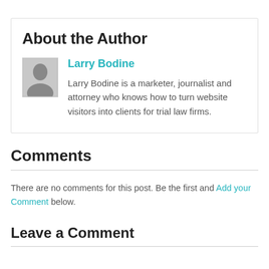About the Author
Larry Bodine
Larry Bodine is a marketer, journalist and attorney who knows how to turn website visitors into clients for trial law firms.
Comments
There are no comments for this post. Be the first and Add your Comment below.
Leave a Comment